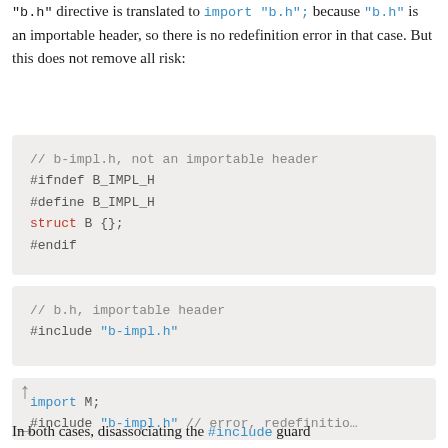"b.h" directive is translated to import "b.h"; because "b.h" is an importable header, so there is no redefinition error in that case. But this does not remove all risk:
[Figure (other): Code block 1: b-impl.h, not an importable header, with include guard (#ifndef B_IMPL_H / #define B_IMPL_H / struct B {}; / #endif)]
[Figure (other): Code block 2: b.h, importable header, containing #include "b-impl.h"]
[Figure (other): Code block 3: import M; followed by #include "b-impl.h" // error, redefinition]
In both cases, disassociating the #include guard